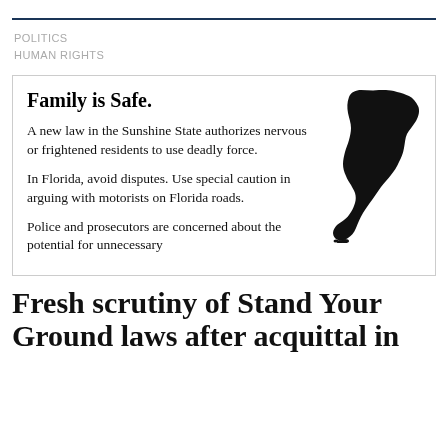POLITICS
HUMAN RIGHTS
[Figure (infographic): A notice/advisory box with text about Florida's Stand Your Ground law, featuring a silhouette map of Florida in the upper right. Text reads: 'Family is Safe. A new law in the Sunshine State authorizes nervous or frightened residents to use deadly force. In Florida, avoid disputes. Use special caution in arguing with motorists on Florida roads. Police and prosecutors are concerned about the potential for unnecessary']
Fresh scrutiny of Stand Your Ground laws after acquittal in